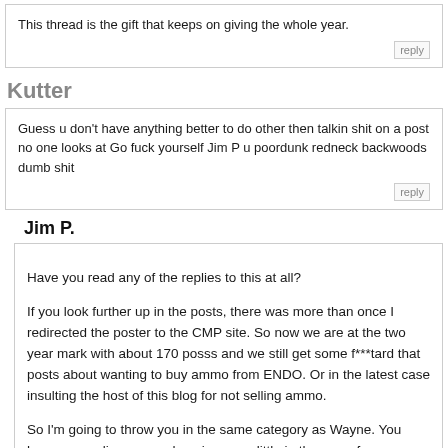This thread is the gift that keeps on giving the whole year.
Kutter
Guess u don't have anything better to do other then talkin shit on a post no one looks at Go fuck yourself Jim P u poordunk redneck backwoods dumb shit
Jim P.
Have you read any of the replies to this at all?

If you look further up in the posts, there was more than once I redirected the poster to the CMP site. So now we are at the two year mark with about 170 posss and we still get some f***tard that posts about wanting to buy ammo from ENDO. Or in the latest case insulting the host of this blog for not selling ammo.

So I'm going to throw you in the same category as Wayne. You have no reading comprehension, very little in the way of intelligence and should just go back to plying with your Wang in